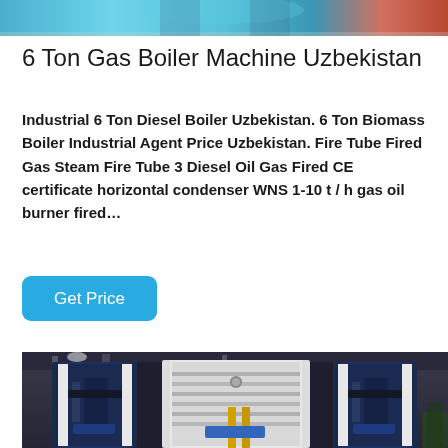[Figure (photo): Top portion of a boiler machine product image, partially cropped at top of page]
6 Ton Gas Boiler Machine Uzbekistan
Industrial 6 Ton Diesel Boiler Uzbekistan. 6 Ton Biomass Boiler Industrial Agent Price Uzbekistan. Fire Tube Fired Gas Steam Fire Tube 3 Diesel Oil Gas Fired CE certificate horizontal condenser WNS 1-10 t / h gas oil burner fired…
[Figure (other): Get Price button — a rounded rectangular cyan/blue button with white text]
[Figure (photo): Industrial boiler machines in a facility; two tall dark blue/white boiler units with pipes and yellow gas connections, industrial interior background]